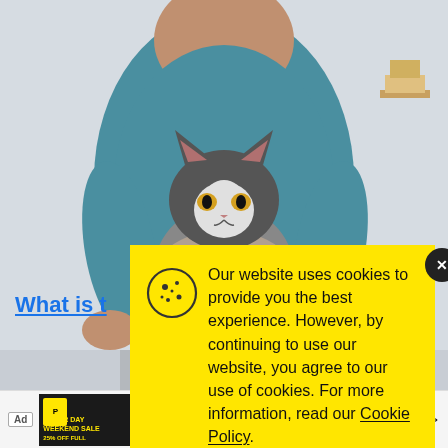[Figure (photo): Person in teal/blue t-shirt holding a black and white tuxedo cat, indoor background. Partially visible behind cookie consent modal.]
What is t
Our website uses cookies to provide you the best experience. However, by continuing to use our website, you agree to our use of cookies. For more information, read our Cookie Policy.
Accept
Ad
LABOR DAY WEEKEND SALE
PUMA
Shop Now >